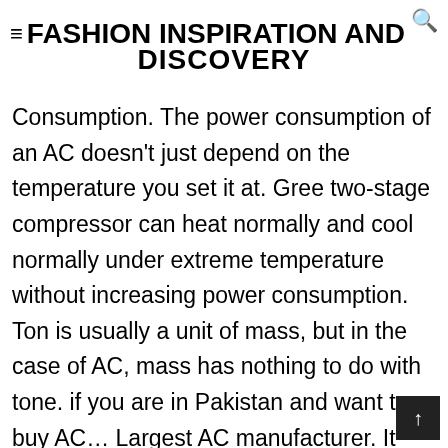≡ FASHION INSPIRATION AND DISCOVERY
Consumption. The power consumption of an AC doesn't just depend on the temperature you set it at. Gree two-stage compressor can heat normally and cool normally under extreme temperature without increasing power consumption. Ton is usually a unit of mass, but in the case of AC, mass has nothing to do with tone. if you are in Pakistan and want to buy AC… Largest AC manufacturer. It has a broad product lineup and is widely applicable to places such as residential houses, apartments and office buildings. When we call something cold, it